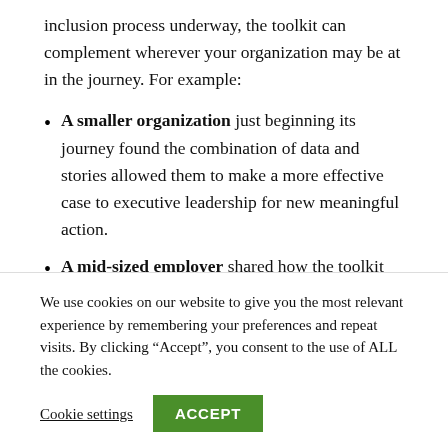inclusion process underway, the toolkit can complement wherever your organization may be at in the journey. For example:
A smaller organization just beginning its journey found the combination of data and stories allowed them to make a more effective case to executive leadership for new meaningful action.
A mid-sized employer shared how the toolkit helped reframe the organization's
We use cookies on our website to give you the most relevant experience by remembering your preferences and repeat visits. By clicking “Accept”, you consent to the use of ALL the cookies.